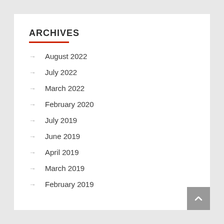ARCHIVES
August 2022
July 2022
March 2022
February 2020
July 2019
June 2019
April 2019
March 2019
February 2019